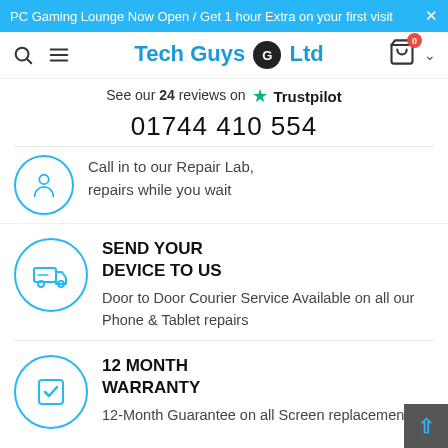PC Gaming Lounge Now Open / Get 1 hour Extra on your first visit ×
[Figure (logo): Tech Guys G Ltd logo in blue text with circular G icon]
See our 24 reviews on ★ Trustpilot
01744 410 554
Call in to our Repair Lab, repairs while you wait
SEND YOUR DEVICE TO US
Door to Door Courier Service Available on all our Phone & Tablet repairs
12 MONTH WARRANTY
12-Month Guarantee on all Screen replacements